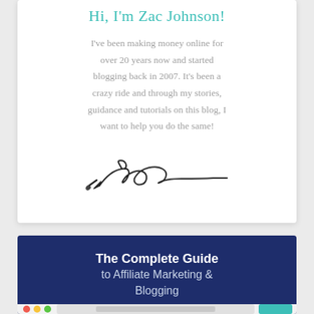Hi, I'm Zac Johnson!
I've been making money online for over 20 years now and started blogging back in 2007. It's been a crazy ride and through my stories, guidance and tutorials on this blog, I want to help you do the same!
[Figure (illustration): Handwritten signature of Zac Johnson]
[Figure (screenshot): Dark navy blue promotional card for 'The Complete Guide to Affiliate Marketing & Blogging' with a browser window screenshot partially visible at the bottom]